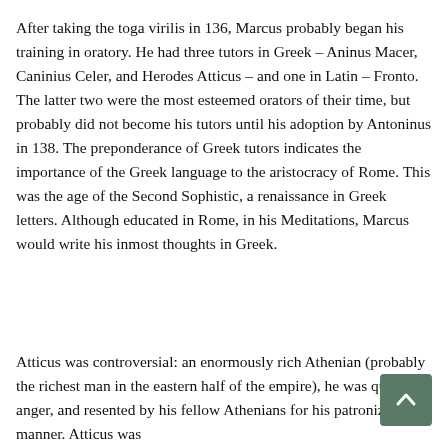After taking the toga virilis in 136, Marcus probably began his training in oratory. He had three tutors in Greek – Aninus Macer, Caninius Celer, and Herodes Atticus – and one in Latin – Fronto. The latter two were the most esteemed orators of their time, but probably did not become his tutors until his adoption by Antoninus in 138. The preponderance of Greek tutors indicates the importance of the Greek language to the aristocracy of Rome. This was the age of the Second Sophistic, a renaissance in Greek letters. Although educated in Rome, in his Meditations, Marcus would write his inmost thoughts in Greek.
Atticus was controversial: an enormously rich Athenian (probably the richest man in the eastern half of the empire), he was quick to anger, and resented by his fellow Athenians for his patronizing manner. Atticus was